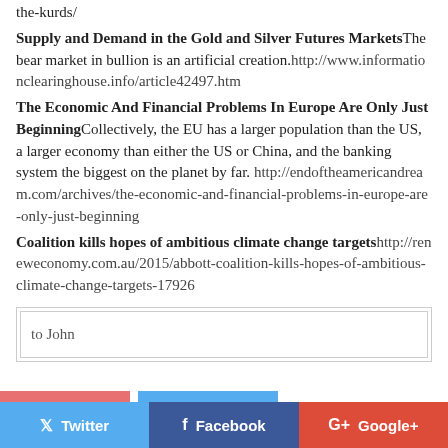the-kurds/
Supply and Demand in the Gold and Silver Futures MarketsThe bear market in bullion is an artificial creation.http://www.informationclearinghouse.info/article42497.htm
The Economic And Financial Problems In Europe Are Only Just BeginningCollectively, the EU has a larger population than the US, a larger economy than either the US or China, and the banking system the biggest on the planet by far. http://endoftheamericandream.com/archives/the-economic-and-financial-problems-in-europe-are-only-just-beginning
Coalition kills hopes of ambitious climate change targetshttp://reneweconomy.com.au/2015/abbott-coalition-kills-hopes-of-ambitious-climate-change-targets-17926
to John
Twitter  Facebook  Google+